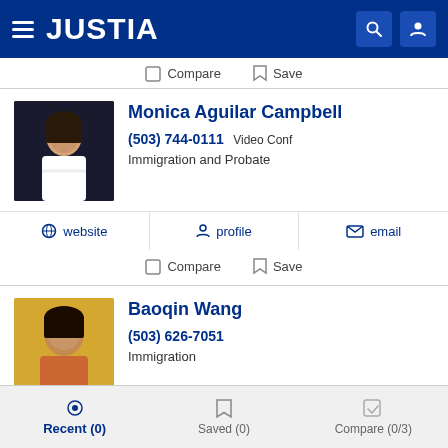JUSTIA
Compare   Save
Monica Aguilar Campbell
(503) 744-0111 Video Conf
Immigration and Probate
website   profile   email
Compare   Save
Baoqin Wang
(503) 626-7051
Immigration
website   profile   email
Recent (0)   Saved (0)   Compare (0/3)